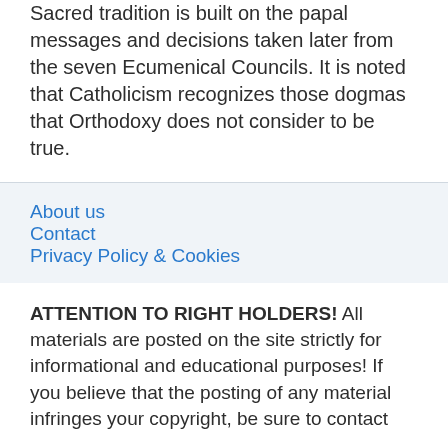Sacred tradition is built on the papal messages and decisions taken later from the seven Ecumenical Councils. It is noted that Catholicism recognizes those dogmas that Orthodoxy does not consider to be true.
About us
Contact
Privacy Policy & Cookies
ATTENTION TO RIGHT HOLDERS! All materials are posted on the site strictly for informational and educational purposes! If you believe that the posting of any material infringes your copyright, be sure to contact